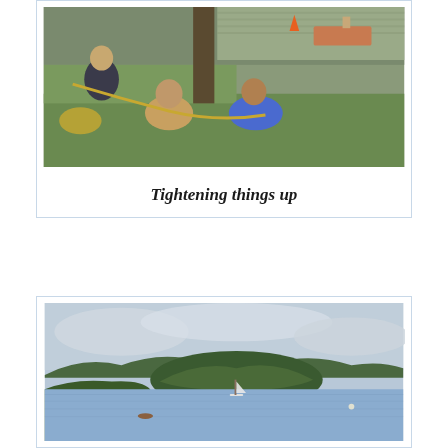[Figure (photo): People sitting on grass pulling ropes near a dock/marina area. Two shirtless or lightly clothed men pulling a rope together, with another person in dark clothes behind them. Wooden dock and boats visible in background.]
Tightening things up
[Figure (photo): Aerial or waterfront view of a calm bay or harbor with a small island covered in green trees in the background. A sailboat is anchored in the middle of the water. Overcast cloudy sky. Green mangroves visible on the left shore.]